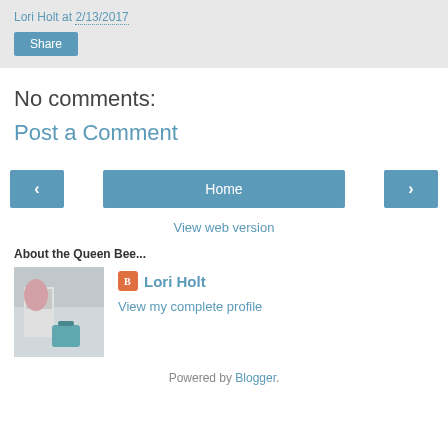Lori Holt at 2/13/2017
Share
No comments:
Post a Comment
‹ Home ›
View web version
About the Queen Bee...
Lori Holt
View my complete profile
Powered by Blogger.